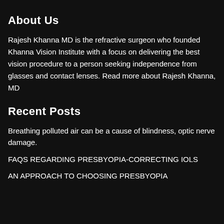About Us
Rajesh Khanna MD is the refractive surgeon who founded Khanna Vision Institute with a focus on delivering the best vision procedure to a person seeking independence from glasses and contact lenses. Read more about Rajesh Khanna, MD
Recent Posts
Breathing polluted air can be a cause of blindness, optic nerve damage.
FAQS REGARDING PRESBYOPIA-CORRECTING IOLS
AN APPROACH TO CHOOSING PRESBYOPIA CORRECTING IMPLANTS IN THE CONTENT OF...